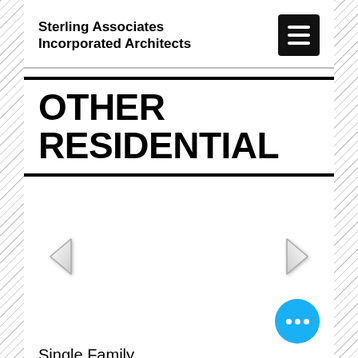Sterling Associates Incorporated Architects
OTHER RESIDENTIAL
[Figure (screenshot): Carousel image placeholder area with left and right navigation arrows (< and >) for browsing project photos]
Single Family Residence, Wayland, MA